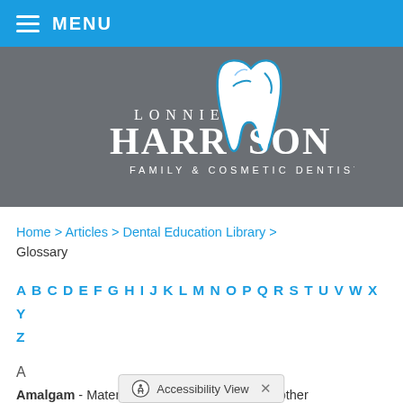≡ MENU
[Figure (logo): Lonnie Harrison Family & Cosmetic Dentistry logo with illustrated tooth graphic]
Home > Articles > Dental Education Library > Glossary
A B C D E F G H I J K L M N O P Q R S T U V W X Y Z
A
Amalgam - Material made from mercury and other alloy mixtures used to...